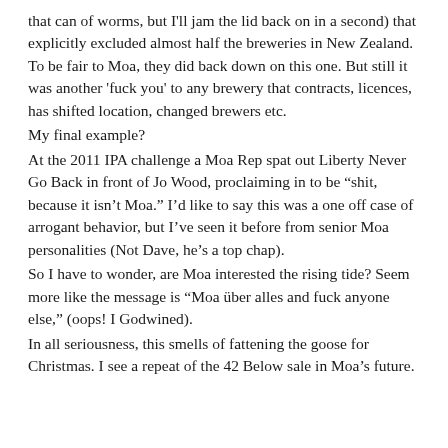that can of worms, but I'll jam the lid back on in a second) that explicitly excluded almost half the breweries in New Zealand. To be fair to Moa, they did back down on this one. But still it was another 'fuck you' to any brewery that contracts, licences, has shifted location, changed brewers etc.
My final example?
At the 2011 IPA challenge a Moa Rep spat out Liberty Never Go Back in front of Jo Wood, proclaiming in to be "shit, because it isn't Moa." I'd like to say this was a one off case of arrogant behavior, but I've seen it before from senior Moa personalities (Not Dave, he's a top chap).
So I have to wonder, are Moa interested the rising tide? Seem more like the message is "Moa über alles and fuck anyone else," (oops! I Godwined).
In all seriousness, this smells of fattening the goose for Christmas. I see a repeat of the 42 Below sale in Moa's future.